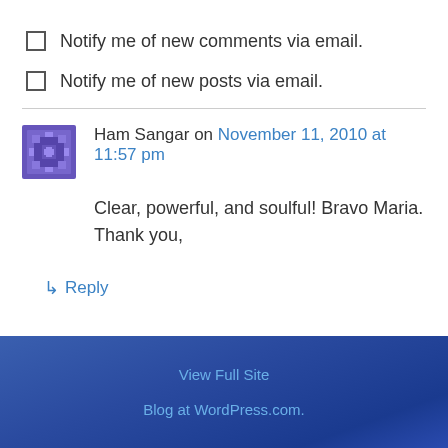Notify me of new comments via email.
Notify me of new posts via email.
Ham Sangar on November 11, 2010 at 11:57 pm
Clear, powerful, and soulful! Bravo Maria. Thank you,
↳ Reply
View Full Site
Blog at WordPress.com.